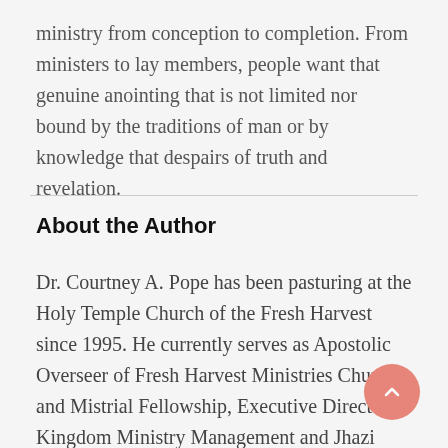ministry from conception to completion. From ministers to lay members, people want that genuine anointing that is not limited nor bound by the traditions of man or by knowledge that despairs of truth and revelation.
About the Author
Dr. Courtney A. Pope has been pasturing at the Holy Temple Church of the Fresh Harvest since 1995. He currently serves as Apostolic Overseer of Fresh Harvest Ministries Church and Mistrial Fellowship, Executive Director of Kingdom Ministry Management and Jhazi Music. His ministry gifts includes composer of songs,